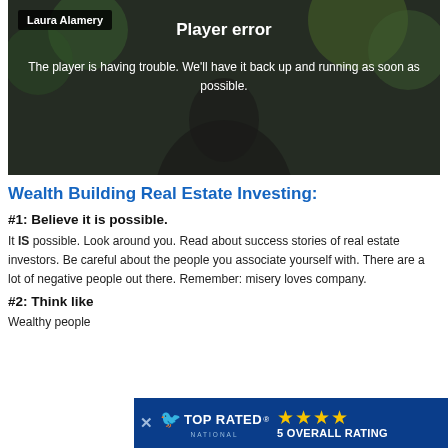[Figure (screenshot): Video player error screen showing 'Laura Alamery' name tag, 'Player error' title, and error message on dark background]
Wealth Building Real Estate Investing:
#1: Believe it is possible.
It IS possible. Look around you. Read about success stories of real estate investors. Be careful about the people you associate yourself with. There are a lot of negative people out there. Remember: misery loves company.
#2: Think like
Wealthy people
[Figure (infographic): Top Rated National advertisement banner with star rating showing 5 overall rating]